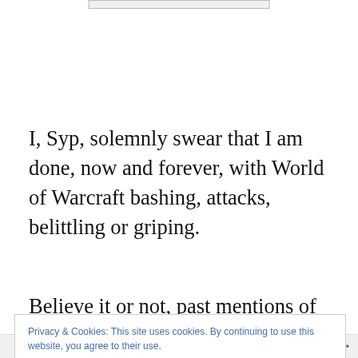[Figure (other): Partial image/logo bar at top of page]
I, Syp, solemnly swear that I am done, now and forever, with World of Warcraft bashing, attacks, belittling or griping.
Believe it or not, past mentions of WoW on this blog
Privacy & Cookies: This site uses cookies. By continuing to use this website, you agree to their use.
To find out more, including how to control cookies, see here: Cookie Policy
Close and accept
Follow ...